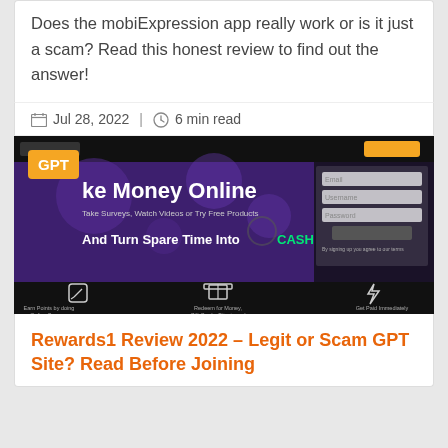Does the mobiExpression app really work or is it just a scam? Read this honest review to find out the answer!
Jul 28, 2022 | 6 min read
[Figure (screenshot): Screenshot of a website called Rewards1 showing a dark background with purple/violet color scheme. Header says 'Make Money Online - Take Surveys, Watch Videos or Try Free Products' with 'And Turn Spare Time Into CASH' below. Right side shows login form with Email, Username, Password fields and a button. Bottom section on black background shows three icons: a pencil/edit icon with text 'Earn Points by doing Online Surveys', a gift box icon with text 'Redeem for Money, Gift Cards, Bitcoin and more', and a lightning bolt icon with text 'Get Paid Immediately'. An orange 'GPT' badge is overlaid on the top-left.]
Rewards1 Review 2022 – Legit or Scam GPT Site? Read Before Joining